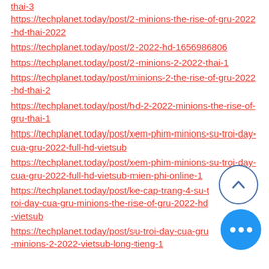thai-3
https://techplanet.today/post/2-minions-the-rise-of-gru-2022-hd-thai-2022
https://techplanet.today/post/2-2022-hd-1656986806
https://techplanet.today/post/2-minions-2-2022-thai-1
https://techplanet.today/post/minions-2-the-rise-of-gru-2022-hd-thai-2
https://techplanet.today/post/hd-2-2022-minions-the-rise-of-gru-thai-1
https://techplanet.today/post/xem-phim-minions-su-troi-day-cua-gru-2022-full-hd-vietsub
https://techplanet.today/post/xem-phim-minions-su-troi-day-cua-gru-2022-full-hd-vietsub-mien-phi-online-1
https://techplanet.today/post/ke-cap-trang-4-su-troi-day-cua-gru-minions-the-rise-of-gru-2022-hd-vietsub
https://techplanet.today/post/su-troi-day-cua-gru-minions-2-2022-vietsub-long-tieng-1